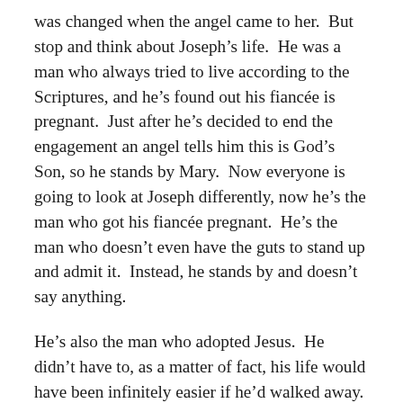was changed when the angel came to her.  But stop and think about Joseph's life.  He was a man who always tried to live according to the Scriptures, and he's found out his fiancée is pregnant.  Just after he's decided to end the engagement an angel tells him this is God's Son, so he stands by Mary.  Now everyone is going to look at Joseph differently, now he's the man who got his fiancée pregnant.  He's the man who doesn't even have the guts to stand up and admit it.  Instead, he stands by and doesn't say anything.
He's also the man who adopted Jesus.  He didn't have to, as a matter of fact, his life would have been infinitely easier if he'd walked away.  He chose to keep the engagement, and it was his choice